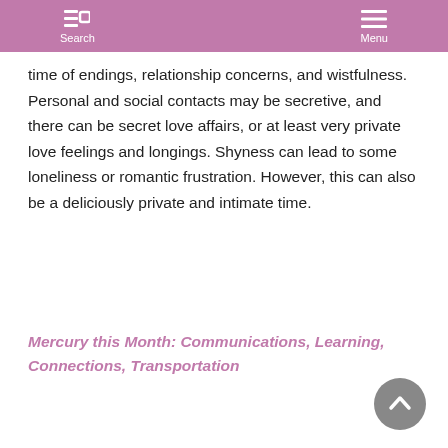Search  Menu
time of endings, relationship concerns, and wistfulness. Personal and social contacts may be secretive, and there can be secret love affairs, or at least very private love feelings and longings. Shyness can lead to some loneliness or romantic frustration. However, this can also be a deliciously private and intimate time.
Mercury this Month: Communications, Learning, Connections, Transportation